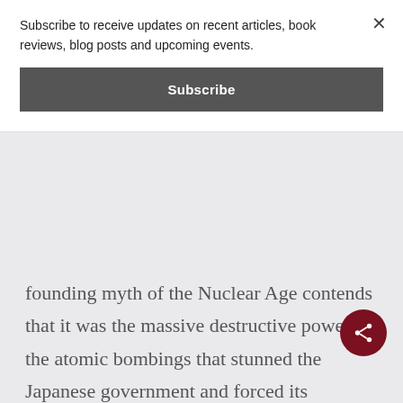Subscribe to receive updates on recent articles, book reviews, blog posts and upcoming events.
Subscribe
founding myth of the Nuclear Age contends that it was the massive destructive power of the atomic bombings that stunned the Japanese government and forced its surrender. But if this story is incorrect, then nuclear weapons are less powerful than we think. In an effort to reject the traditional story, Wilson makes a